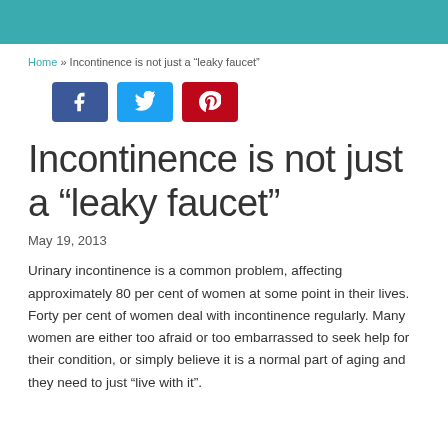Home » Incontinence is not just a “leaky faucet”
[Figure (other): Social share buttons: Facebook (blue), Twitter (light blue), Pinterest (red)]
Incontinence is not just a “leaky faucet”
May 19, 2013
Urinary incontinence is a common problem, affecting approximately 80 per cent of women at some point in their lives.  Forty per cent of women deal with incontinence regularly.  Many women are either too afraid or too embarrassed to seek help for their condition, or simply believe it is a normal part of aging and they need to just “live with it”.